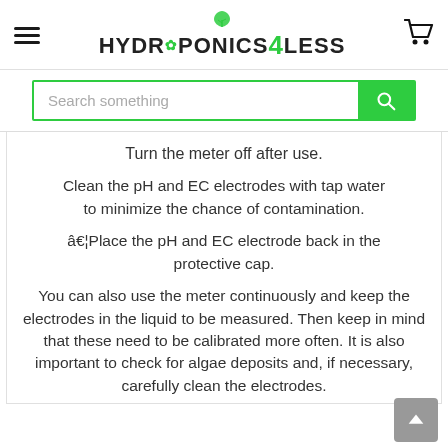[Figure (logo): Hydroponics4Less logo with green leaf icon above text, hamburger menu on left, cart icon on right]
[Figure (screenshot): Search bar with placeholder text 'Search something' and green search button with magnifying glass icon]
Turn the meter off after use.
Clean the pH and EC electrodes with tap water to minimize the chance of contamination.
â€¦Place the pH and EC electrode back in the protective cap.
You can also use the meter continuously and keep the electrodes in the liquid to be measured. Then keep in mind that these need to be calibrated more often. It is also important to check for algae deposits and, if necessary, carefully clean the electrodes.